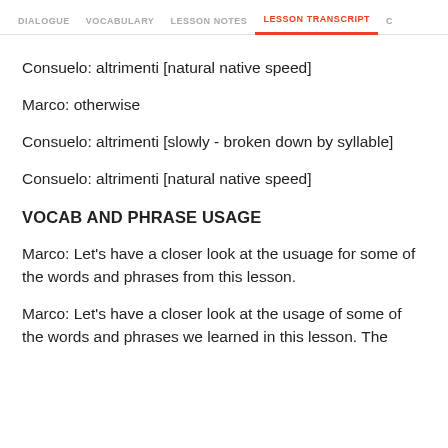DIALOGUE   VOCABULARY   LESSON NOTES   LESSON TRANSCRIPT   C
Consuelo: altrimenti [natural native speed]
Marco: otherwise
Consuelo: altrimenti [slowly - broken down by syllable]
Consuelo: altrimenti [natural native speed]
VOCAB AND PHRASE USAGE
Marco: Let's have a closer look at the usuage for some of the words and phrases from this lesson.
Marco: Let's have a closer look at the usage of some of the words and phrases we learned in this lesson. The